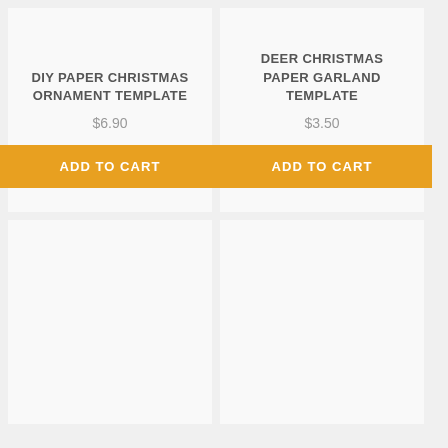DIY PAPER CHRISTMAS ORNAMENT TEMPLATE
$6.90
ADD TO CART
DEER CHRISTMAS PAPER GARLAND TEMPLATE
$3.50
ADD TO CART